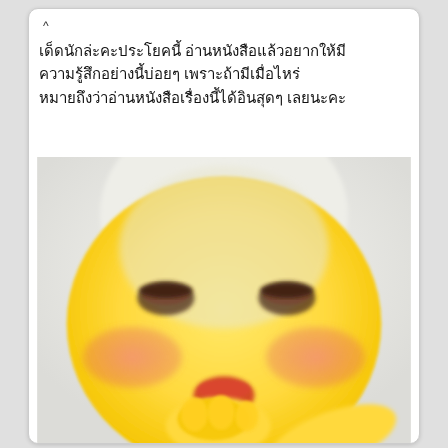^
เด็ดนักล่ะคะประโยคนี้ อ่านหนังสือแล้วอยากให้มีความรู้สึกอย่างนี้บ่อยๆ เพราะถ้ามีเมื่อไหร่หมายถึงว่าอ่านหนังสือเรื่องนี้ได้อินสุดๆ เลยนะคะ
[Figure (illustration): Large blurry thinking emoji face with rosy cheeks, squinting eyes and hand under chin, filling the lower two-thirds of the card]